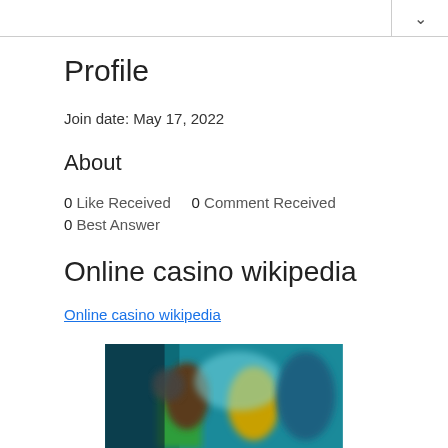Profile
Join date: May 17, 2022
About
0 Like Received   0 Comment Received
0 Best Answer
Online casino wikipedia
Online casino wikipedia
[Figure (photo): Blurred screenshot of an online casino interface with colorful background and people/characters visible]